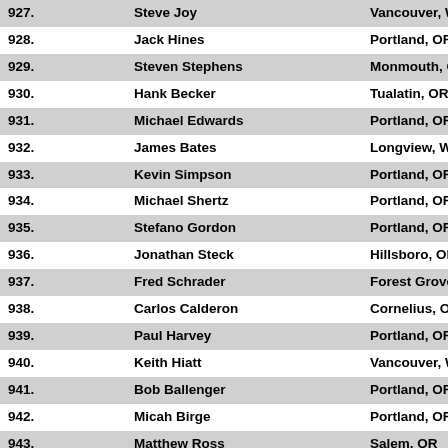| 927. | Steve Joy | Vancouver, WA |
| 928. | Jack Hines | Portland, OR |
| 929. | Steven Stephens | Monmouth, OR |
| 930. | Hank Becker | Tualatin, OR |
| 931. | Michael Edwards | Portland, OR |
| 932. | James Bates | Longview, WA |
| 933. | Kevin Simpson | Portland, OR |
| 934. | Michael Shertz | Portland, OR |
| 935. | Stefano Gordon | Portland, OR |
| 936. | Jonathan Steck | Hillsboro, OR |
| 937. | Fred Schrader | Forest Grove, OR |
| 938. | Carlos Calderon | Cornelius, OR |
| 939. | Paul Harvey | Portland, OR |
| 940. | Keith Hiatt | Vancouver, WA |
| 941. | Bob Ballenger | Portland, OR |
| 942. | Micah Birge | Portland, OR |
| 943. | Matthew Ross | Salem, OR |
| 944. | David Ross | Salem, OR |
| 945. | David Hackett | West Linn, OR |
| 946. | Jacob Ross | Salem, OR |
| 947. | Robert Harrison | Portland, OR |
| 948. | Guy Cappiccie | Salem, OR |
| 949. | Bryan Fletcher | Forest Grove, OR |
| 950. | Lee Urban | Beaverton, OR |
| 951. | Curt Davis | Happy Valley, OR |
| 952. | Michael Butler | Tigard, OR |
| 953. | Greg Shepherd | Hillsboro, OR |
| 954. | Bryan White | Hillsboro, OR |
| 955. | Chuck Eskola | Hillsboro, OR |
| 956. | Bhaskar Aluru | Portland, OR |